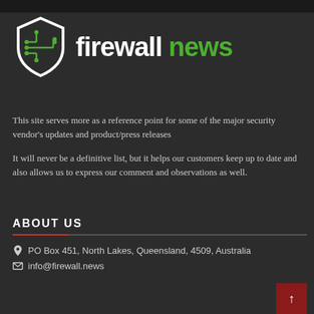[Figure (logo): Firewall News logo: a white shield with green circuit board pattern lines and nodes, with 'firewall' in white bold text and 'news' in green bold text]
This site serves more as a reference point for some of the major security vendor's updates and product/press releases
It will never be a definitive list, but it helps our customers keep up to date and also allows us to express our comment and observations as well.
ABOUT US
PO Box 451, North Lakes, Queensland, 4509, Australia
info@firewall.news